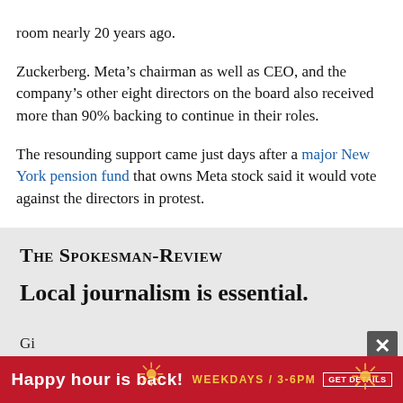room nearly 20 years ago.
Zuckerberg. Meta's chairman as well as CEO, and the company's other eight directors on the board also received more than 90% backing to continue in their roles.
The resounding support came just days after a major New York pension fund that owns Meta stock said it would vote against the directors in protest.
[Figure (screenshot): Advertisement box for The Spokesman-Review with headline 'Local journalism is essential.' and a red banner ad reading 'Happy hour is back! WEEKDAYS / 3-6PM GET DETAILS' with a close (X) button]